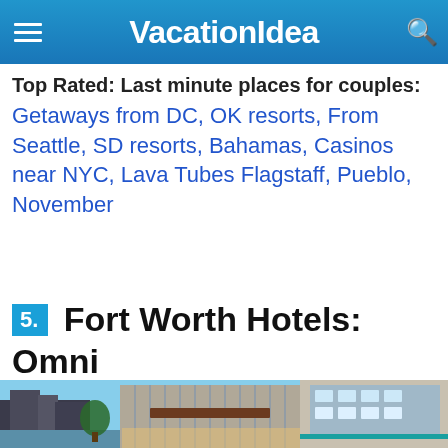VacationIdea
Top Rated: Last minute places for couples: Getaways from DC, OK resorts, From Seattle, SD resorts, Bahamas, Casinos near NYC, Lava Tubes Flagstaff, Pueblo, November
5. Fort Worth Hotels: Omni Fort Worth
[Figure (photo): Exterior photo of Omni Fort Worth Hotel at dusk, showing modern glass and brick architecture with reflections, waterfront view and warm interior lighting visible.]